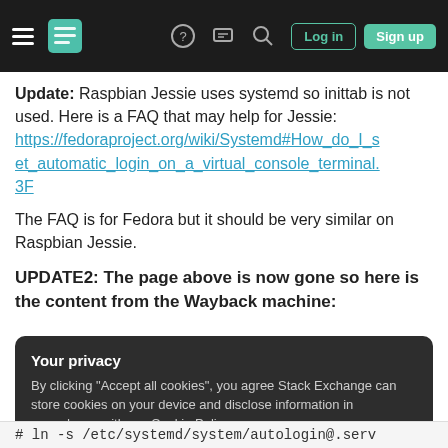Stack Exchange navigation bar with hamburger menu, logo, help, chat, search icons, Log in and Sign up buttons
Update: Raspbian Jessie uses systemd so inittab is not used. Here is a FAQ that may help for Jessie: https://fedoraproject.org/wiki/Systemd#How_do_I_set_automatic_login_on_a_virtual_console_terminal.3F
The FAQ is for Fedora but it should be very similar on Raspbian Jessie.
UPDATE2: The page above is now gone so here is the content from the Wayback machine:
Your privacy
By clicking "Accept all cookies", you agree Stack Exchange can store cookies on your device and disclose information in accordance with our Cookie Policy.
Accept all cookies  Customize settings
# ln -s /etc/systemd/system/autologin@.serv